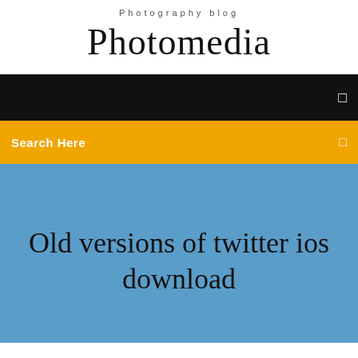Photography blog
Photomedia
[Figure (screenshot): Black navigation bar with a small white icon on the right]
Search Here
Old versions of twitter ios download